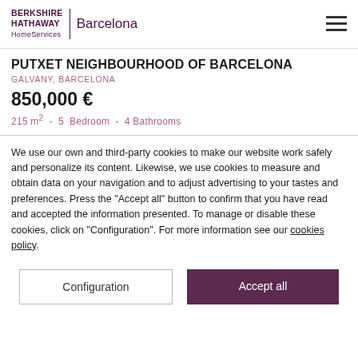BERKSHIRE HATHAWAY HomeServices | Barcelona
PUTXET NEIGHBOURHOOD OF BARCELONA
GALVANY, BARCELONA
850,000 €
215 m² - 5 Bedroom - 4 Bathrooms
We use our own and third-party cookies to make our website work safely and personalize its content. Likewise, we use cookies to measure and obtain data on your navigation and to adjust advertising to your tastes and preferences. Press the "Accept all" button to confirm that you have read and accepted the information presented. To manage or disable these cookies, click on "Configuration". For more information see our cookies policy.
Configuration
Accept all